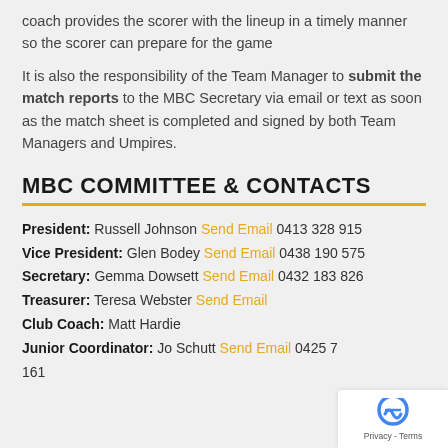coach provides the scorer with the lineup in a timely manner so the scorer can prepare for the game
It is also the responsibility of the Team Manager to submit the match reports to the MBC Secretary via email or text as soon as the match sheet is completed and signed by both Team Managers and Umpires.
MBC COMMITTEE & CONTACTS
President: Russell Johnson Send Email 0413 328 915
Vice President: Glen Bodey Send Email 0438 190 575
Secretary: Gemma Dowsett Send Email 0432 183 826
Treasurer: Teresa Webster Send Email
Club Coach: Matt Hardie
Junior Coordinator: Jo Schutt Send Email 0425 7... 161